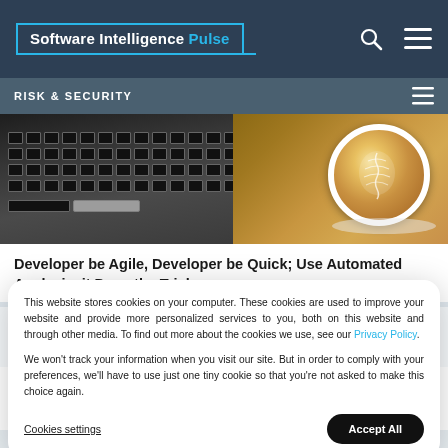Software Intelligence Pulse
RISK & SECURITY
[Figure (photo): Laptop keyboard and coffee cup with latte art on wooden surface]
Developer be Agile, Developer be Quick; Use Automated Analysis, it Does the Trick
This website stores cookies on your computer. These cookies are used to improve your website and provide more personalized services to you, both on this website and through other media. To find out more about the cookies we use, see our Privacy Policy.
We won't track your information when you visit our site. But in order to comply with your preferences, we'll have to use just one tiny cookie so that you're not asked to make this choice again.
Cookies settings
Accept All